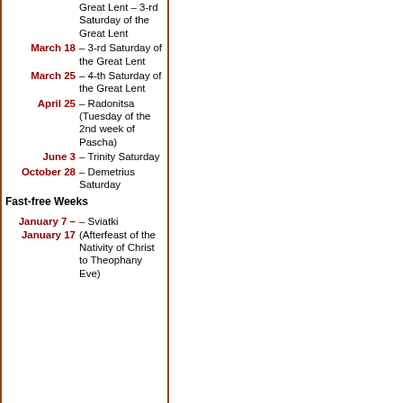| Date | Description |
| --- | --- |
|  | Great Lent – 3-rd Saturday of the Great Lent |
| March 18 | – 3-rd Saturday of the Great Lent |
| March 25 | – 4-th Saturday of the Great Lent |
| April 25 | – Radonitsa (Tuesday of the 2nd week of Pascha) |
| June 3 | – Trinity Saturday |
| October 28 | – Demetrius Saturday |
Fast-free Weeks
| Date | Description |
| --- | --- |
| January 7 – January 17 | – Sviatki (Afterfeast of the Nativity of Christ to Theophany Eve) |